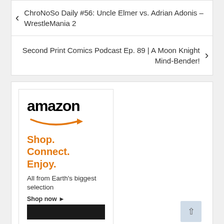‹ ChroNoSo Daily #56: Uncle Elmer vs. Adrian Adonis – WrestleMania 2
Second Print Comics Podcast Ep. 89 | A Moon Knight Mind-Bender! ›
[Figure (logo): Amazon advertisement with logo, orange arrow, 'Shop. Connect. Enjoy.' tagline, 'All from Earth's biggest selection', 'Shop now ▸' link, and black banner at bottom]